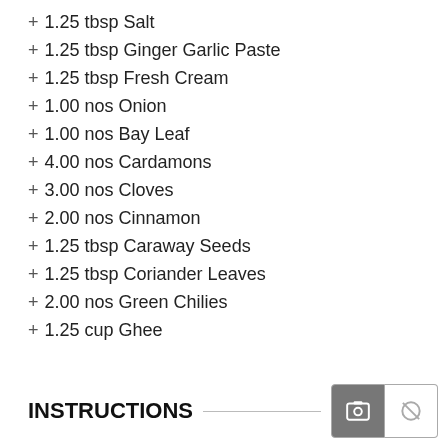+ 1.25 tbsp Salt
+ 1.25 tbsp Ginger Garlic Paste
+ 1.25 tbsp Fresh Cream
+ 1.00 nos Onion
+ 1.00 nos Bay Leaf
+ 4.00 nos Cardamons
+ 3.00 nos Cloves
+ 2.00 nos Cinnamon
+ 1.25 tbsp Caraway Seeds
+ 1.25 tbsp Coriander Leaves
+ 2.00 nos Green Chilies
+ 1.25 cup Ghee
INSTRUCTIONS